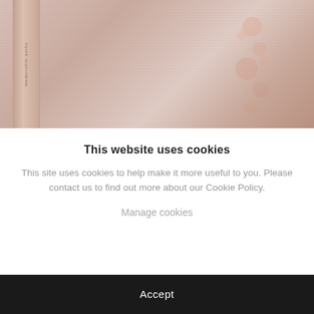[Figure (photo): A photograph or book cover image with warm pinkish-beige tones, showing what appears to be a book spine on the left with vertical text, and soft bokeh light effects on the right side.]
This website uses cookies
This site uses cookies to help make it more useful to you. Please contact us to find out more about our Cookie Policy.
Manage cookies
Accept